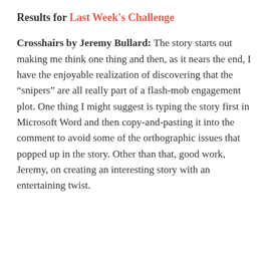Results for Last Week's Challenge
Crosshairs by Jeremy Bullard: The story starts out making me think one thing and then, as it nears the end, I have the enjoyable realization of discovering that the “snipers” are all really part of a flash-mob engagement plot. One thing I might suggest is typing the story first in Microsoft Word and then copy-and-pasting it into the comment to avoid some of the orthographic issues that popped up in the story. Other than that, good work, Jeremy, on creating an interesting story with an entertaining twist.
Privacy & Cookies: This site uses cookies. By continuing to use this website, you agree to their use.
To find out more, including how to control cookies, see here: Cookie Policy
Close and accept